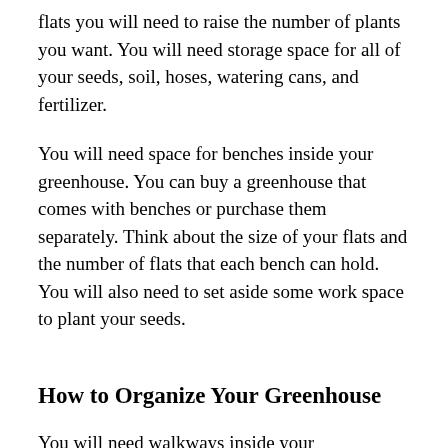flats you will need to raise the number of plants you want. You will need storage space for all of your seeds, soil, hoses, watering cans, and fertilizer.
You will need space for benches inside your greenhouse. You can buy a greenhouse that comes with benches or purchase them separately. Think about the size of your flats and the number of flats that each bench can hold. You will also need to set aside some work space to plant your seeds.
How to Organize Your Greenhouse
You will need walkways inside your greenhouse. Make sure you leave yourself enough room to walk around and easily tend to all of your plants. If more than one person will work in the greenhouse at the same time, make sure there is enough space for you